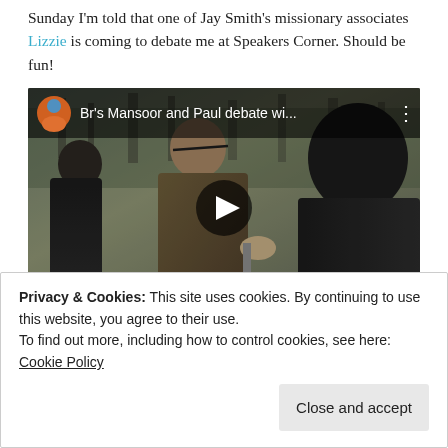Sunday I'm told that one of Jay Smith's missionary associates Lizzie is coming to debate me at Speakers Corner. Should be fun!
[Figure (screenshot): Embedded YouTube video thumbnail showing 'Br's Mansoor and Paul debate wi...' with a play button overlay. Shows people in a park setting engaged in debate.]
Privacy & Cookies: This site uses cookies. By continuing to use this website, you agree to their use.
To find out more, including how to control cookies, see here: Cookie Policy
Close and accept